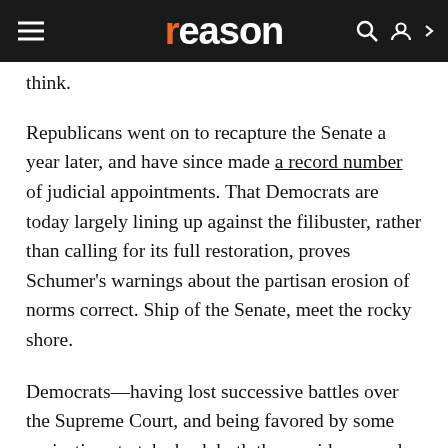reason
think.
Republicans went on to recapture the Senate a year later, and have since made a record number of judicial appointments. That Democrats are today largely lining up against the filibuster, rather than calling for its full restoration, proves Schumer's warnings about the partisan erosion of norms correct. Ship of the Senate, meet the rocky shore.
Democrats—having lost successive battles over the Supreme Court, and being favored by some projections to take back both the presidency and the Senate—are out for blood. and not keen on defending obstacles to the power that they are on the cusp of wielding.
In the immediate term, this rhetorical strategy makes sense. Asserting the value of the filibuster at the present